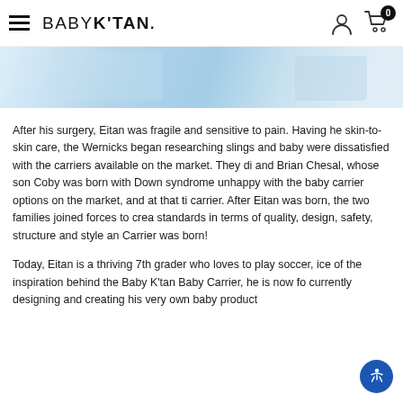BABY K'TAN®
[Figure (photo): Partial view of a light blue and white photo, likely showing a baby or medical/nursery scene, cropped at the top of the page.]
After his surgery, Eitan was fragile and sensitive to pain. Having he skin-to-skin care, the Wernicks began researching slings and baby were dissatisfied with the carriers available on the market. They di and Brian Chesal, whose son Coby was born with Down syndrome unhappy with the baby carrier options on the market, and at that ti carrier. After Eitan was born, the two families joined forces to crea standards in terms of quality, design, safety, structure and style and Carrier was born!
Today, Eitan is a thriving 7th grader who loves to play soccer, ice of the inspiration behind the Baby K'tan Baby Carrier, he is now fo currently designing and creating his very own baby product